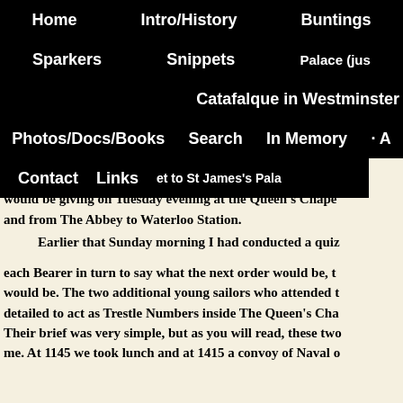Home  Intro/History  Buntings
Sparkers  Snippets  Palace (jus
Catafalque in Westminster
Photos/Docs/Books  Search  In Memory  A
Contact  Links  et to St James's Pala
Portsmouth ... i the inform show us h ... Palace (just ... Catafalque in Westminster ... not even know ho ... et to St James's Pala ... brought home to me that we had many questions still to be ... only be answered by those in the know in London. Finally, ... would be giving on Tuesday evening at the Queen's Chape ... and from The Abbey to Waterloo Station.
Earlier that Sunday morning I had conducted a quiz ... each Bearer in turn to say what the next order would be, t ... would be. The two additional young sailors who attended t ... detailed to act as Trestle Numbers inside The Queen's Cha ... Their brief was very simple, but as you will read, these two ... me. At 1145 we took lunch and at 1415 a convoy of Naval o